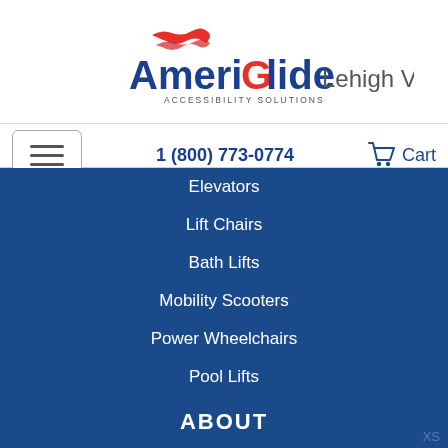[Figure (logo): AmeriGlide Lehigh Valley Accessibility Solutions logo with red wave swoosh above AmeriGlide text and Lehigh Valley in gray to the right]
1 (800) 773-0774
Cart
Elevators
Lift Chairs
Bath Lifts
Mobility Scooters
Power Wheelchairs
Pool Lifts
Walk-In Tubs
Wheelchair Ramps
ABOUT